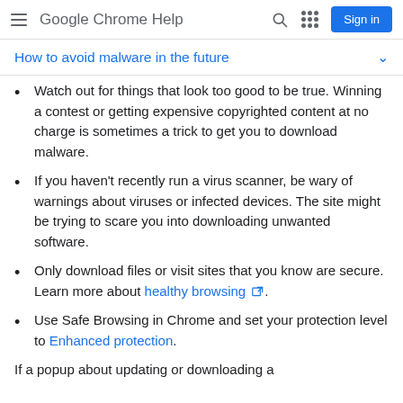Google Chrome Help
How to avoid malware in the future
Watch out for things that look too good to be true. Winning a contest or getting expensive copyrighted content at no charge is sometimes a trick to get you to download malware.
If you haven't recently run a virus scanner, be wary of warnings about viruses or infected devices. The site might be trying to scare you into downloading unwanted software.
Only download files or visit sites that you know are secure. Learn more about healthy browsing.
Use Safe Browsing in Chrome and set your protection level to Enhanced protection.
If a popup about updating or downloading a